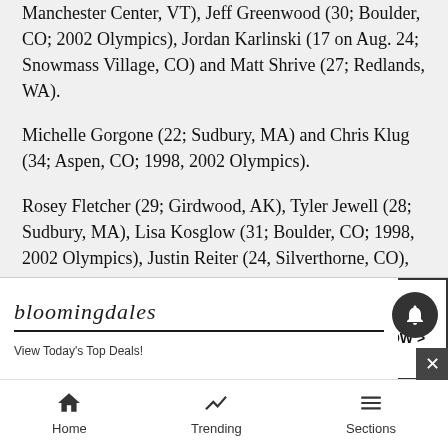Manchester Center, VT), Jeff Greenwood (30; Boulder, CO; 2002 Olympics), Jordan Karlinski (17 on Aug. 24; Snowmass Village, CO) and Matt Shrive (27; Redlands, WA).
Michelle Gorgone (22; Sudbury, MA) and Chris Klug (34; Aspen, CO; 1998, 2002 Olympics).
Rosey Fletcher (29; Girdwood, AK), Tyler Jewell (28; Sudbury, MA), Lisa Kosglow (31; Boulder, CO; 1998, 2002 Olympics), Justin Reiter (24, Silverthorne, CO), Adam Smith (24; Tangent, OR) and Pete Thorndike (27; Meredith, NH; 2002 Olympics).
Stacia Hookum (29; Edwards, CO), Ryan McDonald (25; Entiat, WA), Erica Mueller (23; Chester, VT), Eric Warre... Londo...
[Figure (screenshot): Bloomingdale's advertisement banner: 'bloomingdales / View Today's Top Deals!' with image of woman in hat and 'SHOP NOW >' button]
Home | Trending | Sections